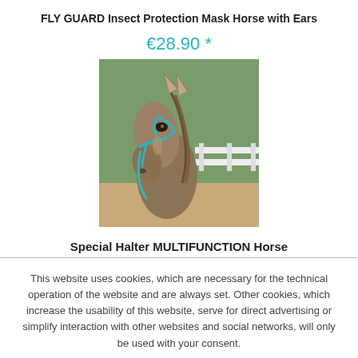FLY GUARD Insect Protection Mask Horse with Ears
€28.90 *
[Figure (photo): A horse wearing a blue halter/lead rope, photographed from the side showing its head. Background shows a white fence and green trees.]
Special Halter MULTIFUNCTION Horse
This website uses cookies, which are necessary for the technical operation of the website and are always set. Other cookies, which increase the usability of this website, serve for direct advertising or simplify interaction with other websites and social networks, will only be used with your consent.
Decline | Accept all | Configure